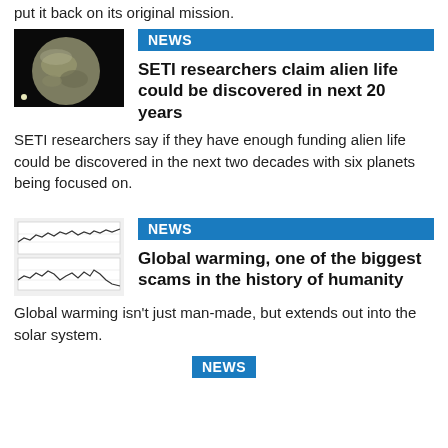put it back on its original mission.
[Figure (photo): Photo of a planet (possibly Earth-like exoplanet) against a dark space background]
NEWS
SETI researchers claim alien life could be discovered in next 20 years
SETI researchers say if they have enough funding alien life could be discovered in the next two decades with six planets being focused on.
[Figure (photo): Climate chart showing two wavy line graphs representing temperature or data measurements over time]
NEWS
Global warming, one of the biggest scams in the history of humanity
Global warming isn't just man-made, but extends out into the solar system.
NEWS